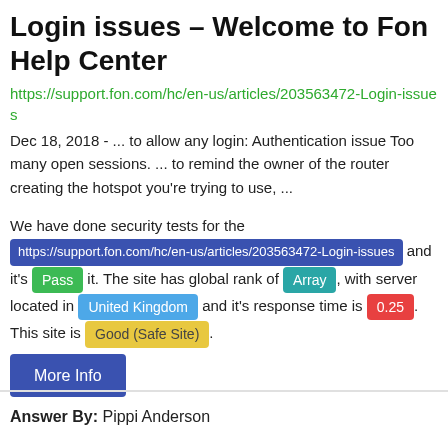Login issues – Welcome to Fon Help Center
https://support.fon.com/hc/en-us/articles/203563472-Login-issues
Dec 18, 2018 - ... to allow any login: Authentication issue Too many open sessions. ... to remind the owner of the router creating the hotspot you're trying to use, ...
We have done security tests for the https://support.fon.com/hc/en-us/articles/203563472-Login-issues and it's Pass it. The site has global rank of Array, with server located in United Kingdom and it's response time is 0.25. This site is Good (Safe Site). More Info
Answer By: Pippi Anderson